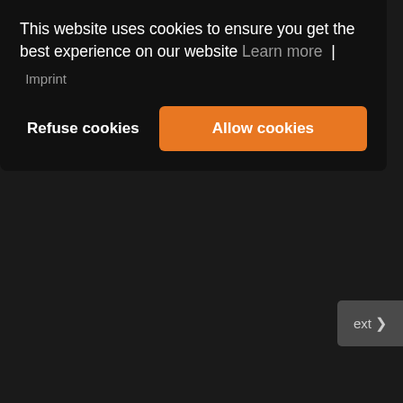convincing, this song will qualify for the final. The voice seems a bit
This website uses cookies to ensure you get the best experience on our website Learn more | Imprint
Refuse cookies
Allow cookies
ext ❯
The Video Clip
Accept cookies & privacy policy?
Please accept cookies to play this video. By accepting you will be accessing content from a service provided by an external third party to Ask for consent before loading Youtube/Vimeo content.
Accept cookies